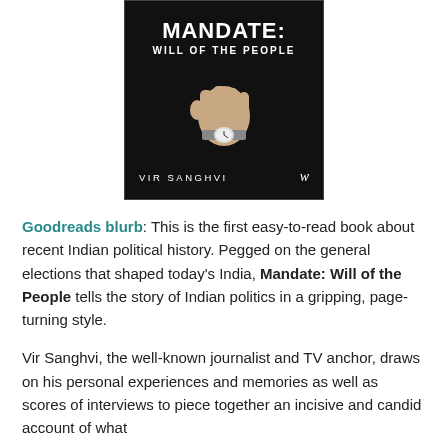[Figure (illustration): Book cover of 'Mandate: Will of the People' by Vir Sanghvi. Dark/black background with white bold text reading 'MANDATE: WILL OF THE PEOPLE' at top, a raised fist with a watch in the center, author name 'VIR SANGHVI' and a stylized W logo at the bottom.]
Goodreads blurb: This is the first easy-to-read book about recent Indian political history. Pegged on the general elections that shaped today's India, Mandate: Will of the People tells the story of Indian politics in a gripping, page-turning style.
Vir Sanghvi, the well-known journalist and TV anchor, draws on his personal experiences and memories as well as scores of interviews to piece together an incisive and candid account of what